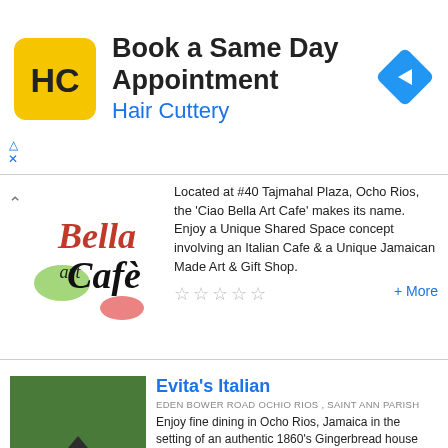[Figure (infographic): Hair Cuttery advertisement banner with yellow HC logo, text 'Book a Same Day Appointment / Hair Cuttery', and blue diamond arrow icon]
[Figure (logo): Ciao Bella Art Cafe logo in cursive red/black script]
Located at #40 Tajmahal Plaza, Ocho Rios, the 'Ciao Bella Art Cafe' makes its name. Enjoy a Unique Shared Space concept involving an Italian Cafe & a Unique Jamaican Made Art & Gift Shop.
+ More
Evita's Italian
EDEN BOWER ROAD OCHIO RIOS , SAINT ANN PARISH
[Figure (photo): Photo of Evita's Italian restaurant entrance - a wooden gingerbread style house with green roof]
Enjoy fine dining in Ocho Rios, Jamaica in the setting of an authentic 1860's Gingerbread house with wooden floors and mahogany bar. You can enjoy lunch or dinner indoors, or outdoors-on our verandah overlooking the cruise ship piers and Ocho Rios. The menu, specialises in Northern Italian